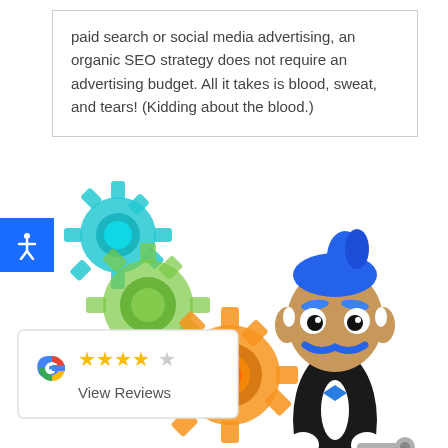paid search or social media advertising, an organic SEO strategy does not require an advertising budget. All it takes is blood, sweat, and tears! (Kidding about the blood.)
[Figure (illustration): Cartoon mascot character — a man with blue hair and blue mustache wearing a tuxedo, holding a wrench. Behind him are colorful gear icons (teal, green, orange) and a Google review widget showing stars and 'View Reviews' text. An accessibility button with a person icon is on the left side.]